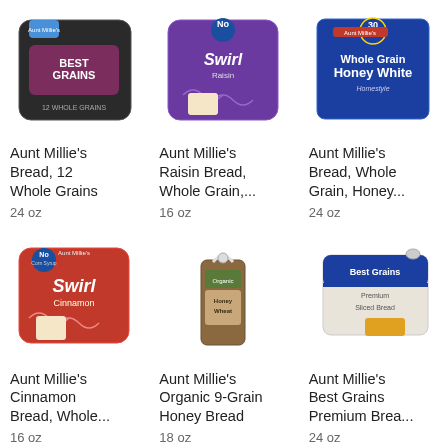[Figure (photo): Aunt Millie's Best Grains 12 Whole Grains bread package]
Aunt Millie's Bread, 12 Whole Grains
24 oz
[Figure (photo): Aunt Millie's Swirl Raisin bread package in purple]
Aunt Millie's Raisin Bread, Whole Grain,...
16 oz
[Figure (photo): Aunt Millie's Whole Grain Honey White bread package in blue]
Aunt Millie's Bread, Whole Grain, Honey...
24 oz
[Figure (photo): Aunt Millie's Swirl Cinnamon bread package in red]
Aunt Millie's Cinnamon Bread, Whole...
16 oz
[Figure (photo): Aunt Millie's Organic 9-Grain Honey Bread in small bag]
Aunt Millie's Organic 9-Grain Honey Bread
18 oz
[Figure (photo): Aunt Millie's Best Grains Premium Bread package in blue]
Aunt Millie's Best Grains Premium Brea...
24 oz
[Figure (photo): Partially visible red bread package at bottom left]